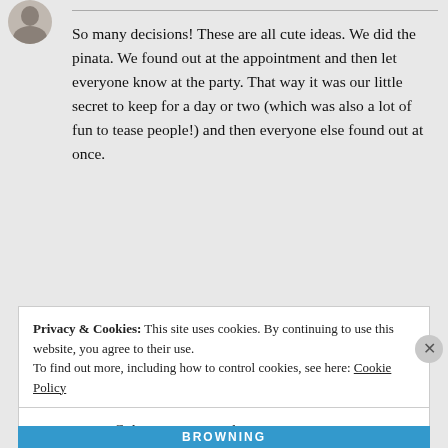[Figure (photo): Circular avatar photo of a person, partially cropped at top-left corner]
So many decisions! These are all cute ideas. We did the pinata. We found out at the appointment and then let everyone know at the party. That way it was our little secret to keep for a day or two (which was also a lot of fun to tease people!) and then everyone else found out at once.
★ Liked by 1 person
Privacy & Cookies: This site uses cookies. By continuing to use this website, you agree to their use. To find out more, including how to control cookies, see here: Cookie Policy
Close and accept